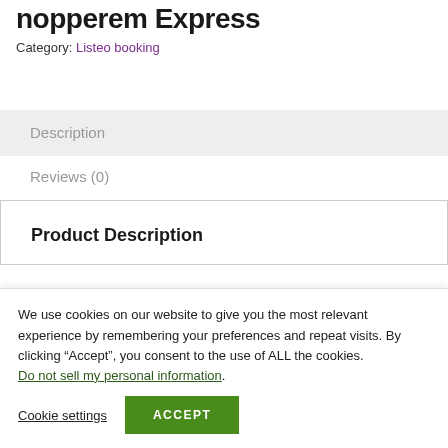nopperem Express
Category: Listeo booking
Description
Reviews (0)
Product Description
We use cookies on our website to give you the most relevant experience by remembering your preferences and repeat visits. By clicking “Accept”, you consent to the use of ALL the cookies. Do not sell my personal information.
Cookie settings
ACCEPT